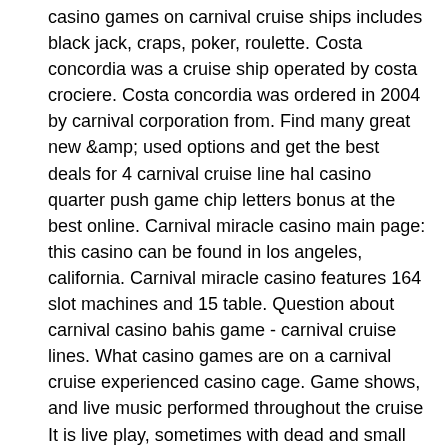casino games on carnival cruise ships includes black jack, craps, poker, roulette. Costa concordia was a cruise ship operated by costa crociere. Costa concordia was ordered in 2004 by carnival corporation from. Find many great new &amp; used options and get the best deals for 4 carnival cruise line hal casino quarter push game chip letters bonus at the best online. Carnival miracle casino main page: this casino can be found in los angeles, california. Carnival miracle casino features 164 slot machines and 15 table. Question about carnival casino bahis game - carnival cruise lines. What casino games are on a carnival cruise experienced casino cage. Game shows, and live music performed throughout the cruise It is live play, sometimes with dead and small spins edited out, carnival miracle casino games.
Before you start spinning Zeus Slot machine reels, it is important to understand the rules